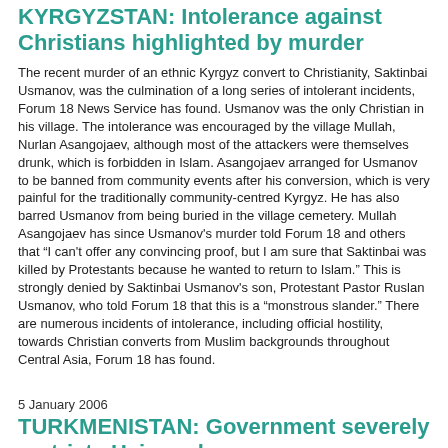KYRGYZSTAN: Intolerance against Christians highlighted by murder
The recent murder of an ethnic Kyrgyz convert to Christianity, Saktinbai Usmanov, was the culmination of a long series of intolerant incidents, Forum 18 News Service has found. Usmanov was the only Christian in his village. The intolerance was encouraged by the village Mullah, Nurlan Asangojaev, although most of the attackers were themselves drunk, which is forbidden in Islam. Asangojaev arranged for Usmanov to be banned from community events after his conversion, which is very painful for the traditionally community-centred Kyrgyz. He has also barred Usmanov from being buried in the village cemetery. Mullah Asangojaev has since Usmanov's murder told Forum 18 and others that "I can't offer any convincing proof, but I am sure that Saktinbai was killed by Protestants because he wanted to return to Islam." This is strongly denied by Saktinbai Usmanov's son, Protestant Pastor Ruslan Usmanov, who told Forum 18 that this is a "monstrous slander." There are numerous incidents of intolerance, including official hostility, towards Christian converts from Muslim backgrounds throughout Central Asia, Forum 18 has found.
5 January 2006
TURKMENISTAN: Government severely restricts Haj numbers
Turkmenistan continues to limit haj pilgrimage numbers to fewer than five per cent of the potential pilgrims, Forum 18 News Service has found, despite the requirement in Islam for able-bodied Muslims who